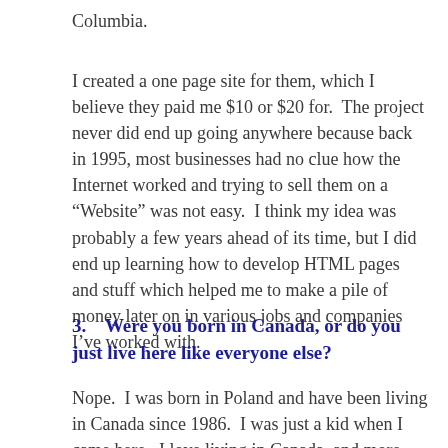Columbia.
I created a one page site for them, which I believe they paid me $10 or $20 for.  The project never did end up going anywhere because back in 1995, most businesses had no clue how the Internet worked and trying to sell them on a “Website” was not easy.  I think my idea was probably a few years ahead of its time, but I did end up learning how to develop HTML pages and stuff which helped me to make a pile of money later on in various jobs and companies I’ve worked with.
3.    Were you born in Canada, or do you just live here like everyone else?
Nope.  I was born in Poland and have been living in Canada since 1986.  I was just a kid when I came here.  I love living in Canada, and more specifically